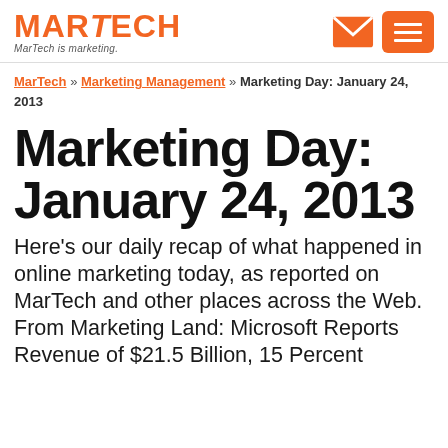MARTECH — MarTech is marketing.
MarTech » Marketing Management » Marketing Day: January 24, 2013
Marketing Day: January 24, 2013
Here's our daily recap of what happened in online marketing today, as reported on MarTech and other places across the Web. From Marketing Land: Microsoft Reports Revenue of $21.5 Billion, 15 Percent